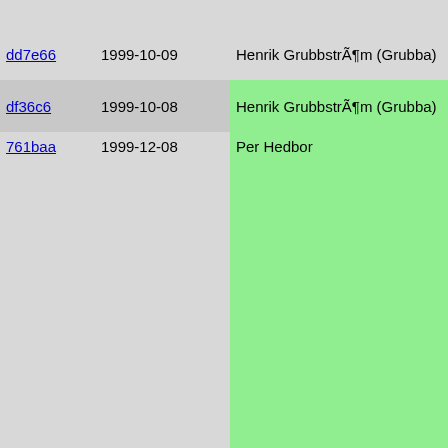| hash | date | author |  | code |
| --- | --- | --- | --- | --- |
|  |  |  |  | } |
| dd7e66 | 1999-10-09 | Henrik GrubbstrÃ¶m (Grubba) |  | } |
| df36c6 | 1999-10-08 | Henrik GrubbstrÃ¶m (Grubba) |  |  |
| 761baa | 1999-12-08 | Per Hedbor |  | #if consta
class FHTT
{
    inherit
//    inher
    constant
    constant
    constant

    int dolo

    int requ

    HTTPLoop
    Stdio.Po

    mapping
    {
        mappin
        foreac
            res[
        return
    }

    void set |